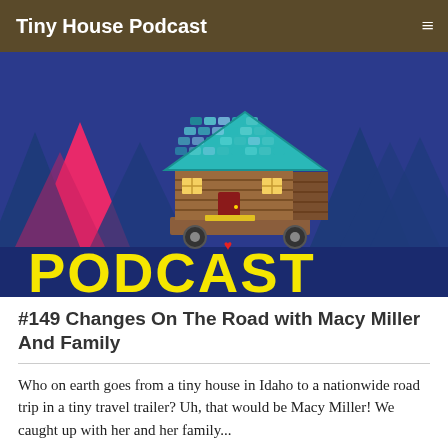Tiny House Podcast
[Figure (illustration): Colorful illustrated podcast artwork showing a tiny house on wheels with a teal/blue shingle roof, wooden exterior walls, and a red door, set against a dark forest of stylized trees in blues and pinks. The word PODCAST is displayed in large yellow letters at the bottom of the image.]
#149 Changes On The Road with Macy Miller And Family
Who on earth goes from a tiny house in Idaho to a nationwide road trip in a tiny travel trailer? Uh, that would be Macy Miller! We caught up with her and her family...